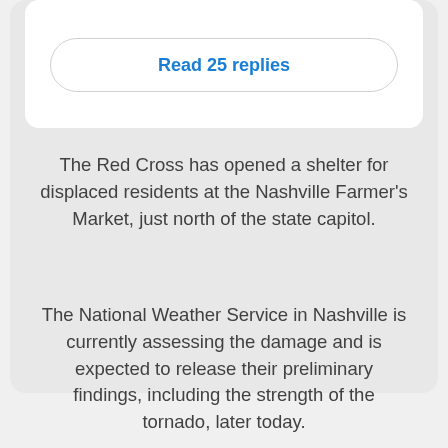Read 25 replies
The Red Cross has opened a shelter for displaced residents at the Nashville Farmer's Market, just north of the state capitol.
The National Weather Service in Nashville is currently assessing the damage and is expected to release their preliminary findings, including the strength of the tornado, later today.